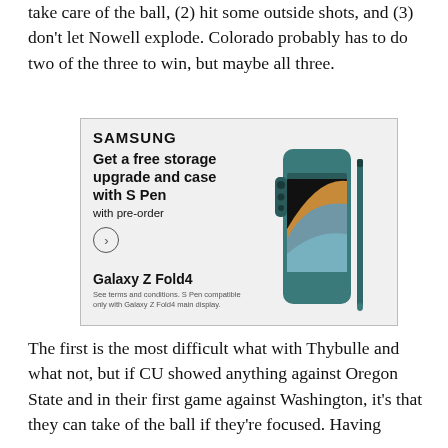take care of the ball, (2) hit some outside shots, and (3) don't let Nowell explode. Colorado probably has to do two of the three to win, but maybe all three.
[Figure (illustration): Samsung Galaxy Z Fold4 advertisement. Text reads: SAMSUNG. Get a free storage upgrade and case with S Pen. with pre-order. Arrow circle button. Galaxy Z Fold4. See terms and conditions. S Pen compatible only with Galaxy Z Fold4 main display. Image shows the folded phone with S Pen.]
The first is the most difficult what with Thybulle and what not, but if CU showed anything against Oregon State and in their first game against Washington, it's that they can take of the ball if they're focused. Having